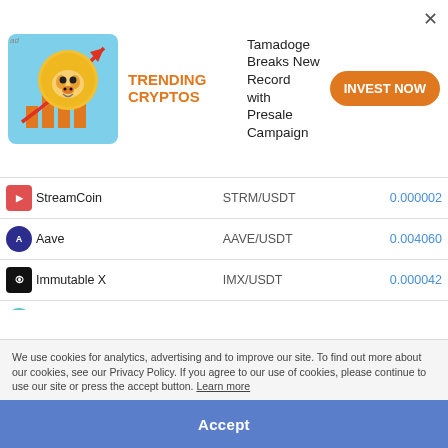[Figure (infographic): Ad banner with Tamadoge crypto dog coin illustration showing upward arrow chart, TRENDING CRYPTOS text in orange, description 'Tamadoge Breaks New Record with Presale Campaign', and orange INVEST NOW button]
| Coin | Pair | Price |
| --- | --- | --- |
| StreamCoin | STRM/USDT | 0.000002 |
| Aave | AAVE/USDT | 0.004060 |
| Immutable X | IMX/USDT | 0.000042 |
| Zebec Protocol | ZBC/USDT | 0.000001 |
| Mina Protocol | MINA/USDT | 0.000033 |
| Steem | STEEM/USDT | 0.000011 |
| Uma | UMA/USDT | 0.000137 |
| Unifi Protocol DAO | UNFI/USDT | 0.000367 |
| Jasmy | JASMY/USDT | 0.000000 |
We use cookies for analytics, advertising and to improve our site. To find out more about our cookies, see our Privacy Policy. If you agree to our use of cookies, please continue to use our site or press the accept button. Learn more
Accept